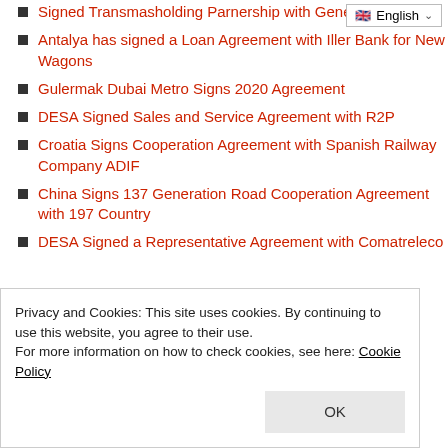Signed Transmasholding Partnership with General Electric
Antalya has signed a Loan Agreement with Iller Bank for New Wagons
Gulermak Dubai Metro Signs 2020 Agreement
DESA Signed Sales and Service Agreement with R2P
Croatia Signs Cooperation Agreement with Spanish Railway Company ADIF
China Signs 137 Generation Road Cooperation Agreement with 197 Country
DESA Signed a Representative Agreement with Comatreleco
Privacy and Cookies: This site uses cookies. By continuing to use this website, you agree to their use.
For more information on how to check cookies, see here: Cookie Policy